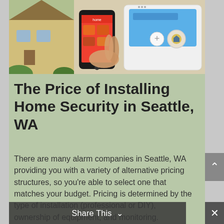[Figure (photo): Photo showing a hand holding a smartphone with a home security app open, next to a home security panel touchscreen. A house is visible in the background on the left.]
The Price of Installing Home Security in Seattle, WA
There are many alarm companies in Seattle, WA providing you with a variety of alternative pricing structures, so you’re able to select one that matches your budget. Pricing is determined by the type of installation (professional or DIY), ownership of equipment, and monitoring. Installation charges can be eliminated by installing it yourself, or can about $200 or more for professional installation.